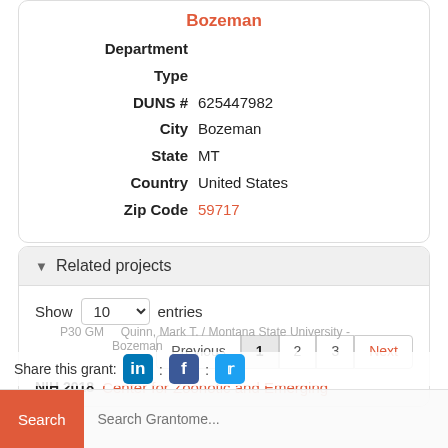Bozeman
| Field | Value |
| --- | --- |
| Department |  |
| Type |  |
| DUNS # | 625447982 |
| City | Bozeman |
| State | MT |
| Country | United States |
| Zip Code | 59717 |
Related projects
Show 10 entries
Previous 1 2 3 Next
NIH 2018  Center for Zoonotic and Emerging
P30 GM ...
Share this grant:
Quinn, Mark T. / Montana State University - Bozeman